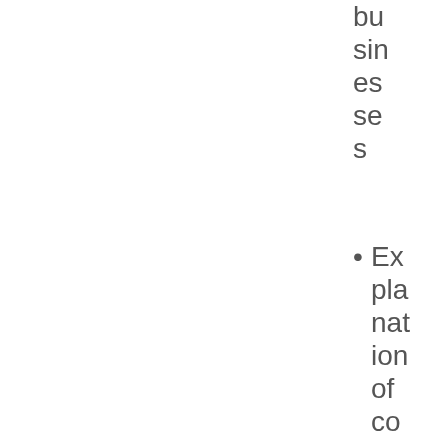businesses
Explanation of common provisions in co